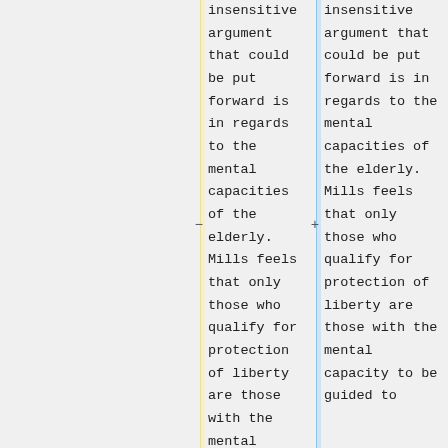insensitive argument that could be put forward is in regards to the mental capacities of the elderly. Mills feels that only those who qualify for protection of liberty are those with the mental capacity to be guided to
insensitive argument that could be put forward is in regards to the mental capacities of the elderly. Mills feels that only those who qualify for protection of liberty are those with the mental capacity to be guided to